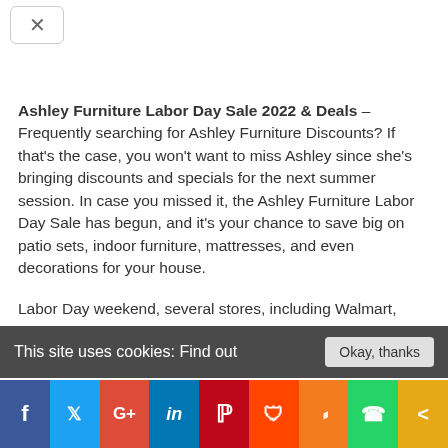[Figure (other): Close/collapse button with X icon in top left]
Ashley Furniture Labor Day Sale 2022 & Deals – Frequently searching for Ashley Furniture Discounts? If that's the case, you won't want to miss Ashley since she's bringing discounts and specials for the next summer session. In case you missed it, the Ashley Furniture Labor Day Sale has begun, and it's your chance to save big on patio sets, indoor furniture, mattresses, and even decorations for your house.

Labor Day weekend, several stores, including Walmart,
This site uses cookies: Find out
[Figure (other): Social sharing bar with Facebook, Twitter, Google+, LinkedIn, Pinterest, Reddit, Mix, WhatsApp, Share buttons]